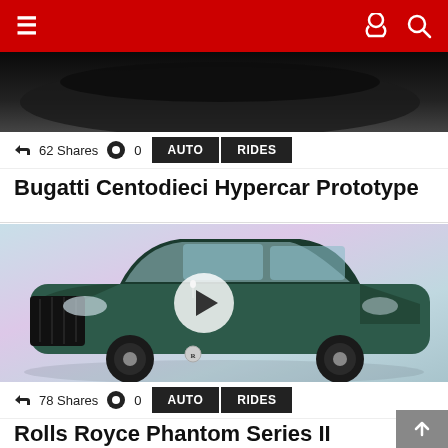Navigation bar with menu icon and search/dark-mode icons
[Figure (photo): Partial top view of dark-colored hypercar (Bugatti Centodieci) — only bottom portion visible]
62 Shares  0  AUTO  RIDES
Bugatti Centodieci Hypercar Prototype
[Figure (photo): Rolls Royce Phantom Series II luxury sedan in dark green/teal color, front three-quarter view, with play button overlay indicating video content. Studio background with soft pink/blue gradient.]
78 Shares  0  AUTO  RIDES
Rolls Royce Phantom Series II